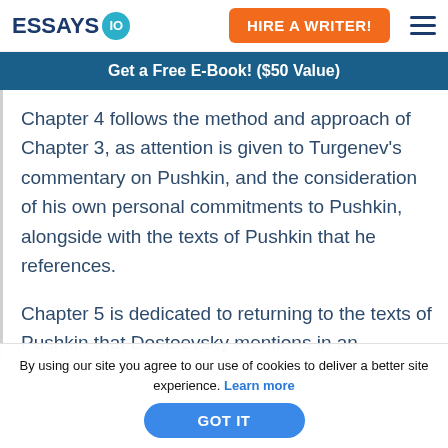ESSAYS IO | HIRE A WRITER!
Get a Free E-Book! ($50 Value)
Chapter 4 follows the method and approach of Chapter 3, as attention is given to Turgenev's commentary on Pushkin, and the consideration of his own personal commitments to Pushkin, alongside with the texts of Pushkin that he references.
Chapter 5 is dedicated to returning to the texts of Pushkin that Dostoevsky mentions in an
By using our site you agree to our use of cookies to deliver a better site experience. Learn more
GOT IT